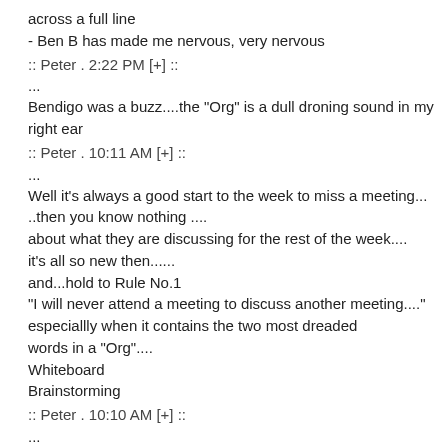across a full line
- Ben B has made me nervous, very nervous
:: Peter . 2:22 PM [+] ::
...
Bendigo was a buzz....the "Org" is a dull droning sound in my right ear
:: Peter . 10:11 AM [+] ::
...
Well it's always a good start to the week to miss a meeting... ..then you know nothing .... about what they are discussing for the rest of the week.... it's all so new then...... and...hold to Rule No.1 "I will never attend a meeting to discuss another meeting...." especiallly when it contains the two most dreaded words in a "Org".... Whiteboard Brainstorming
:: Peter . 10:10 AM [+] ::
...
Thanks Matt and Robbo.........and the amazing 12 arms and 6 feet of Amy!!!........Now she would